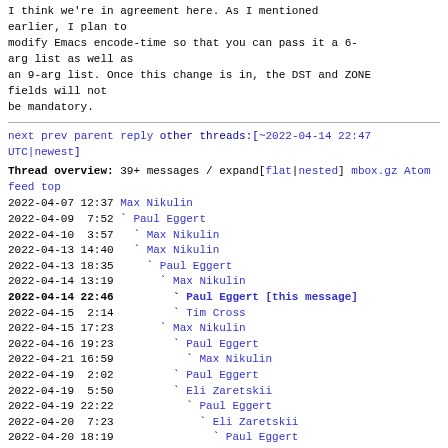I think we're in agreement here. As I mentioned earlier, I plan to modify Emacs encode-time so that you can pass it a 6-arg list as well as an 9-arg list. Once this change is in, the DST and ZONE fields will not be mandatory.
next prev parent reply  other threads:[~2022-04-14 22:47 UTC|newest]
Thread overview: 39+ messages / expand[flat|nested]
mbox.gz  Atom feed  top
2022-04-07 12:37 Max Nikulin
2022-04-09  7:52 ` Paul Eggert
2022-04-10  3:57   ` Max Nikulin
2022-04-13 14:40   ` Max Nikulin
2022-04-13 18:35     ` Paul Eggert
2022-04-14 13:19       ` Max Nikulin
2022-04-14 22:46         ` Paul Eggert [this message]
2022-04-15  2:14         ` Tim Cross
2022-04-15 17:23       ` Max Nikulin
2022-04-16 19:23         ` Paul Eggert
2022-04-21 16:59           ` Max Nikulin
2022-04-19  2:02         ` Paul Eggert
2022-04-19  5:50         ` Eli Zaretskii
2022-04-19 22:22           ` Paul Eggert
2022-04-20  7:23             ` Eli Zaretskii
2022-04-20 18:19               ` Paul Eggert